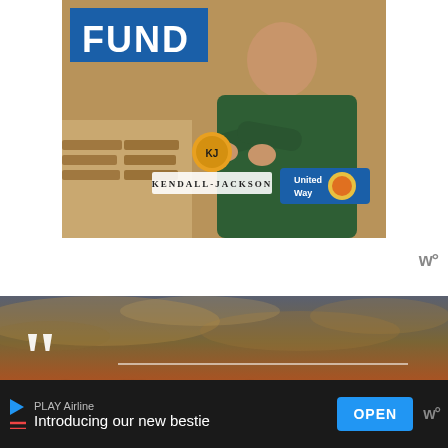[Figure (photo): Advertisement banner with 'FUND' text, person in green apron with arms crossed, Kendall-Jackson and United Way logos]
[Figure (photo): Quote image with dramatic sunset sky background showing the text: Italy will never be a normal country because Italy is Italy. If we were a normal country, we... with large opening quotation marks and a horizontal divider line]
Italy will never be a normal country because Italy is Italy. If we were a
[Figure (infographic): Bottom advertisement bar for PLAY Airline with text 'Introducing our new bestie' and OPEN button]